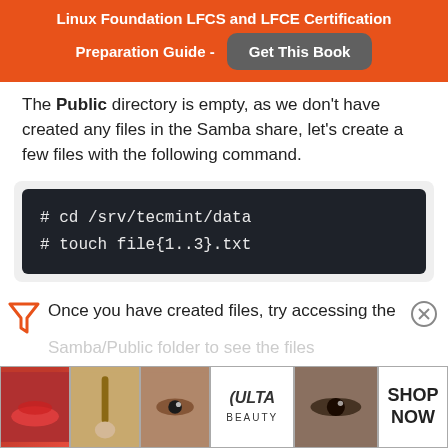Linux Foundation LFCS and LFCE Certification Preparation Guide - Get This Book
The Public directory is empty, as we don't have created any files in the Samba share, let's create a few files with the following command.
Once you have created files, try accessing the Samba/Public folder to see the files...
[Figure (other): ULTA Beauty advertisement banner with makeup photos]